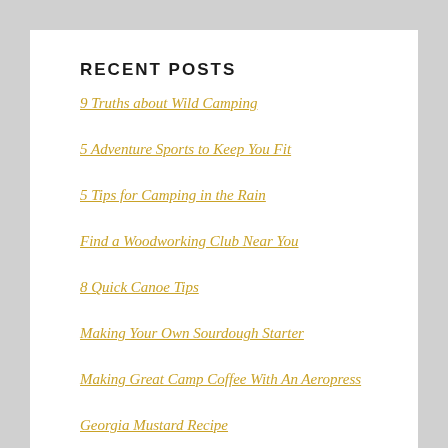RECENT POSTS
9 Truths about Wild Camping
5 Adventure Sports to Keep You Fit
5 Tips for Camping in the Rain
Find a Woodworking Club Near You
8 Quick Canoe Tips
Making Your Own Sourdough Starter
Making Great Camp Coffee With An Aeropress
Georgia Mustard Recipe